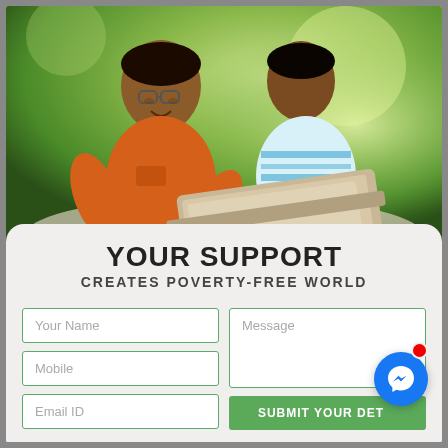[Figure (photo): Two young Indian boys, one wearing glasses and an orange t-shirt, another in a striped blue-green shirt, looking at a laptop together outdoors with green foliage background]
YOUR SUPPORT
CREATES POVERTY-FREE WORLD
Your Name
Mobile
Email ID
Message
SUBMIT YOUR DETAILS
* We Never Share your data with third parties